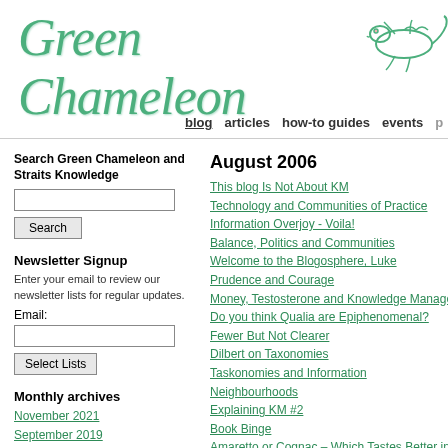Green Chameleon
[Figure (illustration): Green chameleon lizard illustration/logo in outline style]
blog  articles  how-to guides  events
Search Green Chameleon and Straits Knowledge
Newsletter Signup
Enter your email to review our newsletter lists for regular updates.
Monthly archives
November 2021
September 2019
August 2019
August 2006
This blog Is Not About KM
Technology and Communities of Practice
Information Overjoy - Voila!
Balance, Politics and Communities
Welcome to the Blogosphere, Luke
Prudence and Courage
Money, Testosterone and Knowledge Management
Do you think Qualia are Epiphenomenal?
Fewer But Not Clearer
Dilbert on Taxonomies
Taskonomies and Information Neighbourhoods
Explaining KM #2
Book Binge
Amaretto or Cognac – Which Tastes Better in Tiramisu
Getting Management Buy-In - More contributions need